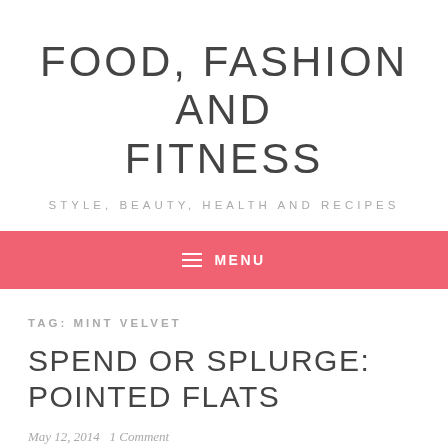FOOD, FASHION AND FITNESS
STYLE, BEAUTY, HEALTH AND RECIPES
≡  MENU
TAG: MINT VELVET
SPEND OR SPLURGE: POINTED FLATS
May 12, 2014   1 Comment